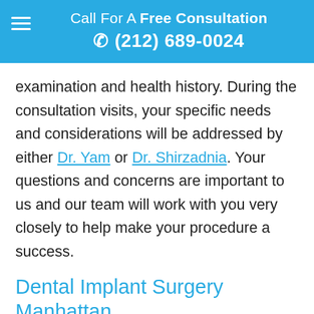Call For A Free Consultation ☎ (212) 689-0024
examination and health history. During the consultation visits, your specific needs and considerations will be addressed by either Dr. Yam or Dr. Shirzadnia. Your questions and concerns are important to us and our team will work with you very closely to help make your procedure a success.
Dental Implant Surgery Manhattan
I found my experience with Herald Square Dental to...
We are online!